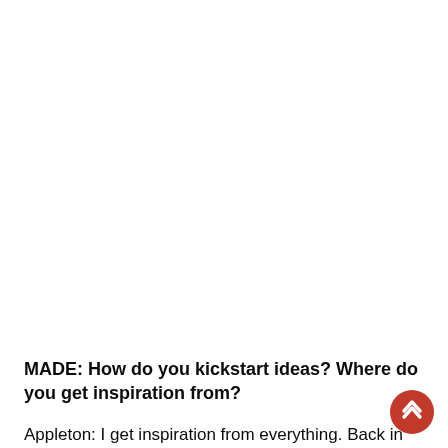MADE: How do you kickstart ideas? Where do you get inspiration from?
Appleton: I get inspiration from everything. Back in